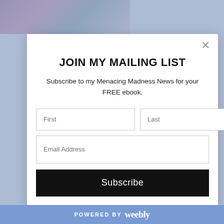[Figure (photo): Partial background image showing a person with colorful artistic makeup (green and teal eyeliner) at the top left of the page.]
JOIN MY MAILING LIST
Subscribe to my Menacing Madness News for your FREE ebook.
[Figure (screenshot): Modal dialog with mailing list signup form containing First name, Last name, Email Address fields and a Subscribe button.]
POWERED BY weebly